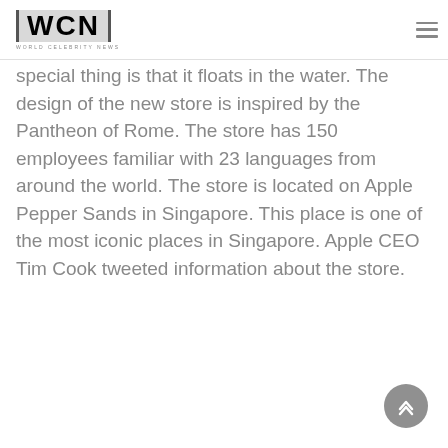WCN World Celebrity News
special thing is that it floats in the water. The design of the new store is inspired by the Pantheon of Rome. The store has 150 employees familiar with 23 languages from around the world. The store is located on Apple Pepper Sands in Singapore. This place is one of the most iconic places in Singapore. Apple CEO Tim Cook tweeted information about the store.